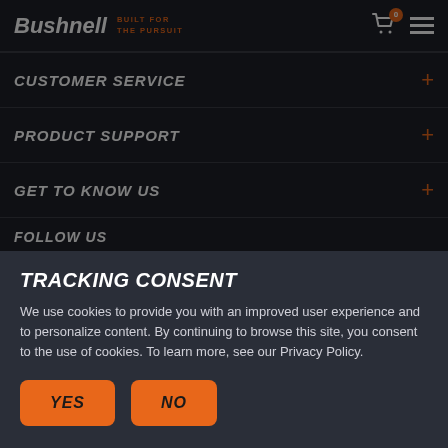Bushnell — BUILT FOR THE PURSUIT
CUSTOMER SERVICE
PRODUCT SUPPORT
GET TO KNOW US
FOLLOW US
TRACKING CONSENT
We use cookies to provide you with an improved user experience and to personalize content. By continuing to browse this site, you consent to the use of cookies. To learn more, see our Privacy Policy.
YES
NO